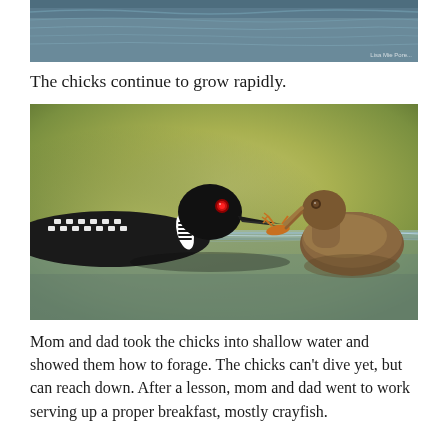[Figure (photo): Partial view of loons on water, top portion of image cropped]
The chicks continue to grow rapidly.
[Figure (photo): Adult loon feeding a crayfish to a juvenile loon chick on the water surface. The adult loon is on the left with distinctive black and white plumage and red eye, the fluffy brown chick is on the right with open beak receiving food.]
Mom and dad took the chicks into shallow water and showed them how to forage. The chicks can't dive yet, but can reach down. After a lesson, mom and dad went to work serving up a proper breakfast, mostly crayfish.